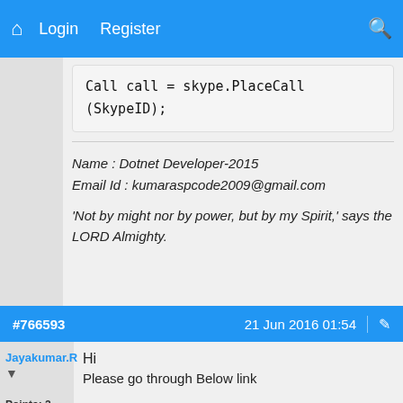Home  Login  Register  Search
[Figure (screenshot): Code snippet showing: Call call = skype.PlaceCall(SkypeID);]
Name : Dotnet Developer-2015
Email Id : kumaraspcode2009@gmail.com
'Not by might nor by power, but by my Spirit,' says the LORD Almighty.
#766593   21 Jun 2016 01:54
Jayakumar.R
Hi
Please go through Below link
Points: 2